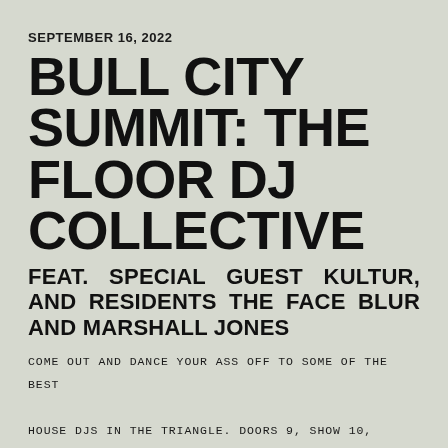SEPTEMBER 16, 2022
BULL CITY SUMMIT: THE FLOOR DJ COLLECTIVE
FEAT. SPECIAL GUEST KULTUR, AND RESIDENTS THE FACE BLUR AND MARSHALL JONES
COME OUT AND DANCE YOUR ASS OFF TO SOME OF THE BEST HOUSE DJS IN THE TRIANGLE. DOORS 9, SHOW 10, *FREE* $5 SUGGESTED DONATION